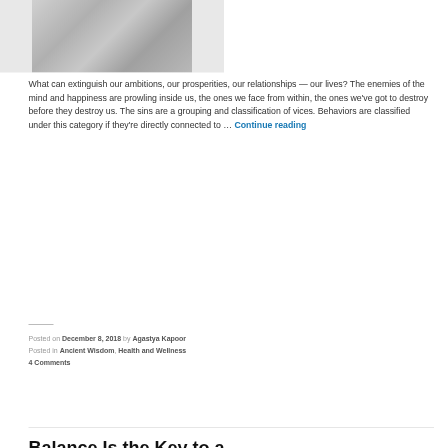[Figure (photo): Black and white photograph partially visible at the top of the page, showing a person's head/upper body in grayscale tones]
What can extinguish our ambitions, our prosperities, our relationships — our lives? The enemies of the mind and happiness are prowling inside us, the ones we face from within, the ones we've got to destroy before they destroy us. The sins are a grouping and classification of vices. Behaviors are classified under this category if they're directly connected to … Continue reading
Posted on December 8, 2018 by Agastya Kapoor
Posted in Ancient Wisdom, Health and Wellness
4 Comments
Balance Is the Key to a